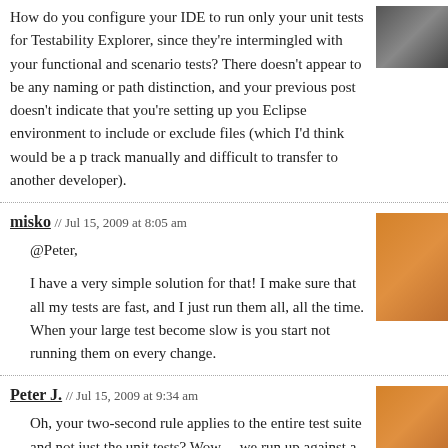How do you configure your IDE to run only your unit tests for Testability Explorer, since they're intermingled with your functional and scenario tests? There doesn't appear to be any naming or path distinction, and your previous post doesn't indicate that you're setting up your Eclipse environment to include or exclude files (which I'd think would be a pain to track manually and difficult to transfer to another developer).
misko // Jul 15, 2009 at 8:05 am
@Peter,
I have a very simple solution for that! I make sure that all my tests are fast, and I just run them all, all the time. When your large test become slow is you start not running them on every change.
Peter J. // Jul 15, 2009 at 9:34 am
Oh, your two-second rule applies to the entire test suite and not just the unit tests? Wow… we run up against a local 30-second limit all